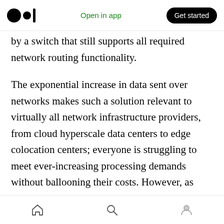Open in app | Get started
by a switch that still supports all required network routing functionality.
The exponential increase in data sent over networks makes such a solution relevant to virtually all network infrastructure providers, from cloud hyperscale data centers to edge colocation centers; everyone is struggling to meet ever-increasing processing demands without ballooning their costs. However, as more network processing moves towards the edge, InsidePacket's technology only becomes more significant. A hyperscale data center run by a
Home Search Profile